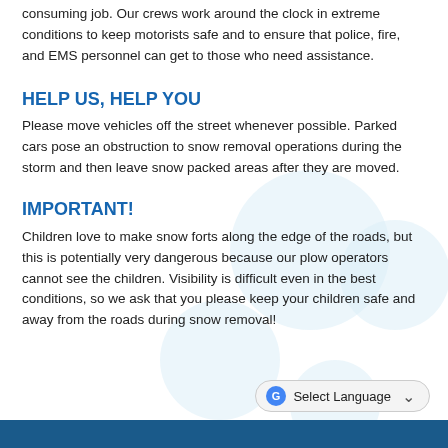consuming job. Our crews work around the clock in extreme conditions to keep motorists safe and to ensure that police, fire, and EMS personnel can get to those who need assistance.
HELP US, HELP YOU
Please move vehicles off the street whenever possible. Parked cars pose an obstruction to snow removal operations during the storm and then leave snow packed areas after they are moved.
IMPORTANT!
Children love to make snow forts along the edge of the roads, but this is potentially very dangerous because our plow operators cannot see the children. Visibility is difficult even in the best conditions, so we ask that you please keep your children safe and away from the roads during snow removal!